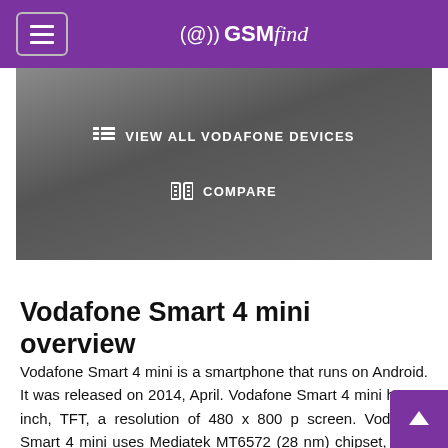GSMfind
[Figure (screenshot): Dark grey gradient hero banner with two white buttons: 'VIEW ALL VODAFONE DEVICES' and 'COMPARE']
Vodafone Smart 4 mini overview
Vodafone Smart 4 mini is a smartphone that runs on Android. It was released on 2014, April. Vodafone Smart 4 mini has 4. inch, TFT, a resolution of 480 x 800 p screen. Vodafone Smart 4 mini uses Mediatek MT6572 (28 nm) chipset, Dual-core 1.3 GHz Cortex-A7 CPU, Mali-